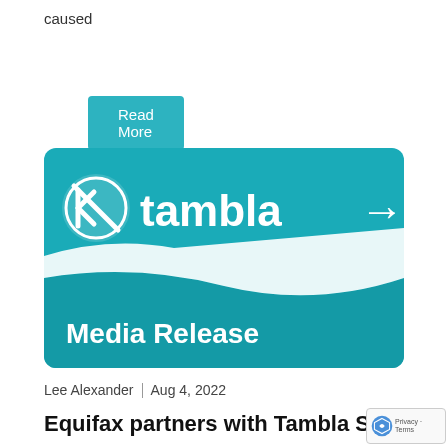caused
Read More
[Figure (logo): Tambla Media Release promotional card with teal/cyan background, white Tambla logo with icon on the left, decorative white wave shape in the middle, and 'Media Release' text in bold white at the bottom left.]
Lee Alexander | Aug 4, 2022
Equifax partners with Tambla Softw…